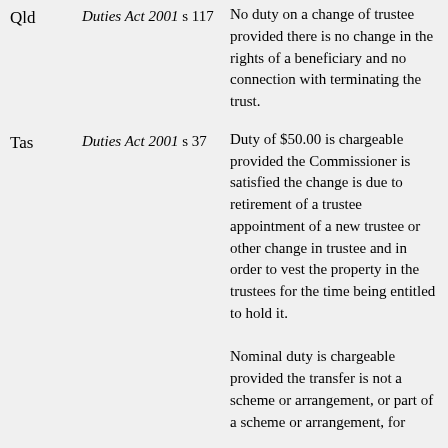| State | Legislation | Description |
| --- | --- | --- |
| Qld | Duties Act 2001 s 117 | No duty on a change of trustee provided there is no change in the rights of a beneficiary and no connection with terminating the trust. |
| Tas | Duties Act 2001 s 37 | Duty of $50.00 is chargeable provided the Commissioner is satisfied the change is due to retirement of a trustee appointment of a new trustee or other change in trustee and in order to vest the property in the trustees for the time being entitled to hold it.

Nominal duty is chargeable provided the transfer is not a scheme or arrangement, or part of a scheme or arrangement, for |